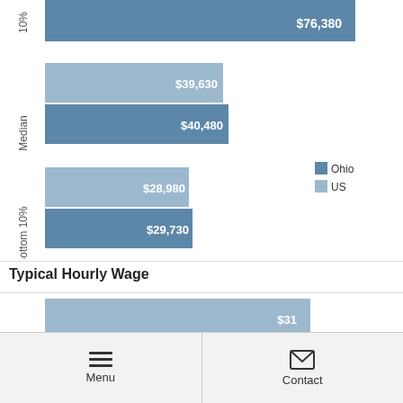[Figure (grouped-bar-chart): Typical Annual Salary (partial)]
Typical Hourly Wage
[Figure (grouped-bar-chart): Typical Hourly Wage (partial)]
Menu | Contact